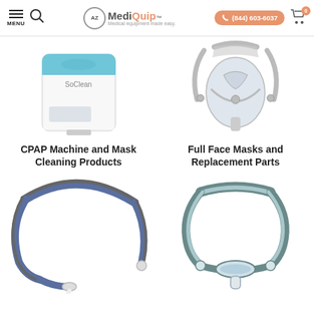[Figure (screenshot): AZ MediQuip website navigation bar with menu icon, search icon, logo, phone button (844)603-6037, and shopping cart icon with 0 badge]
[Figure (photo): SoClean CPAP machine and mask cleaning device - white boxy appliance with blue accents and display]
[Figure (photo): Full face CPAP mask with clear silicone cushion and gray headgear straps]
CPAP Machine and Mask Cleaning Products
Full Face Masks and Replacement Parts
[Figure (photo): Nasal pillow CPAP mask headgear with blue and gray straps]
[Figure (photo): Nasal CPAP mask frame with gray and teal headgear showing overhead strap design]